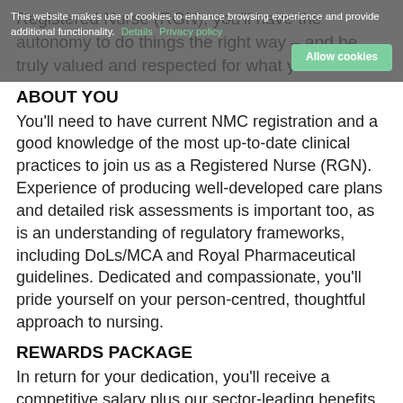Registered Nurse (RGN), you'll have the autonomy to do things the right way – and be truly valued and respected for what you do.
This website makes use of cookies to enhance browsing experience and provide additional functionality. Details  Privacy policy  Allow cookies
ABOUT YOU
You'll need to have current NMC registration and a good knowledge of the most up-to-date clinical practices to join us as a Registered Nurse (RGN). Experience of producing well-developed care plans and detailed risk assessments is important too, as is an understanding of regulatory frameworks, including DoLs/MCA and Royal Pharmaceutical guidelines. Dedicated and compassionate, you'll pride yourself on your person-centred, thoughtful approach to nursing.
REWARDS PACKAGE
In return for your dedication, you'll receive a competitive salary plus our sector-leading benefits and rewards package including:
• NMC registration paid every year